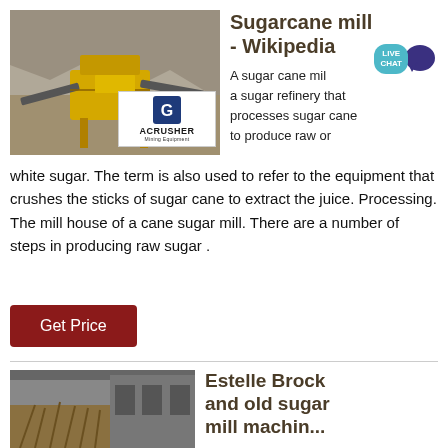[Figure (photo): Mining/crushing equipment outdoors with yellow machinery and ACRUSHER Mining Equipment logo overlay]
Sugarcane mill - Wikipedia
A sugar cane mill is a sugar refinery that processes sugar cane to produce raw or white sugar. The term is also used to refer to the equipment that crushes the sticks of sugar cane to extract the juice. Processing. The mill house of a cane sugar mill. There are a number of steps in producing raw sugar .
Get Price
[Figure (photo): Industrial sugar cane processing facility exterior]
Estelle Brock and old sugar mill machine ...